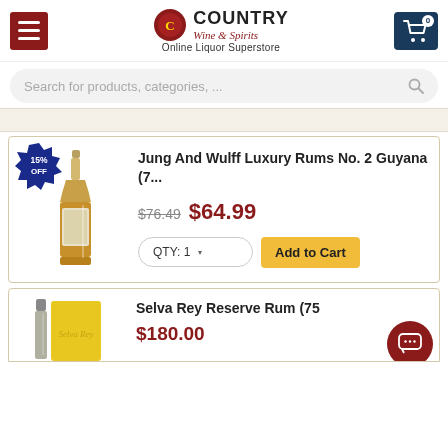Country Wine & Spirits — Online Liquor Superstore
Search for products, categories, ...
[Figure (screenshot): Product listing for Jung And Wulff Luxury Rums No. 2 Guyana (7...) with 15% OFF badge, bottle image, old price $76.49, new price $64.99, QTY:1 selector, and Add to Cart button]
[Figure (screenshot): Partial product listing for Selva Rey Reserve Rum (75...) showing bottle and yellow box, price starting $180.00 (partial)]